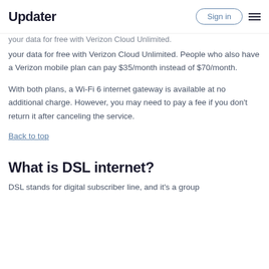Updater | Sign in
your data for free with Verizon Cloud Unlimited. People who also have a Verizon mobile plan can pay $35/month instead of $70/month.
With both plans, a Wi-Fi 6 internet gateway is available at no additional charge. However, you may need to pay a fee if you don't return it after canceling the service.
Back to top
What is DSL internet?
DSL stands for digital subscriber line, and it's a group